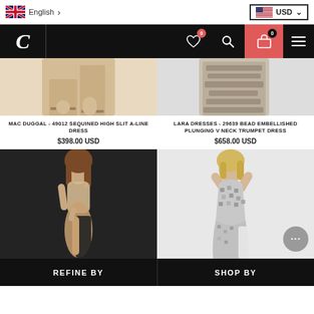[Figure (screenshot): UK flag icon for language selector]
English >
[Figure (screenshot): US flag icon for currency selector]
USD
[Figure (screenshot): Site logo with letter C on black background, nav icons including heart/wishlist (0), search, cart (0), hamburger menu]
[Figure (photo): Partial bottom view of a model wearing a nude/gold sequined high slit A-line dress, showing legs and feet with ankle strap heels]
[Figure (photo): Partial bottom view of a model wearing a bead embellished plunging V neck trumpet dress]
MAC DUGGAL - 49012 SEQUINED HIGH SLIT A-LINE DRESS
$398.00 USD
LARA DRESSES - 29639 BEAD EMBELLISHED PLUNGING V NECK TRUMPET DRESS
$658.00 USD
[Figure (photo): Model in a nude/beige sheer lace fitted dress with high slit on dark background]
[Figure (photo): Model in a silver sequined plunging V neck dress with high slit on light background, with a chat bubble icon at bottom right]
REFINE BY
SHOP BY